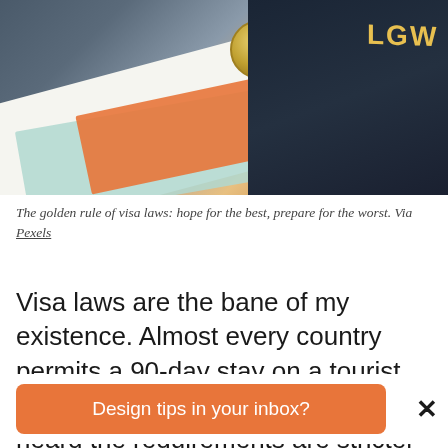[Figure (photo): Close-up photo of travel boarding passes/tickets, a coin, and a smartphone showing an airport departure board. The tickets include an orange boarding pass and teal/white tickets with London Underground logo visible. The phone displays 'LGW' airport code on a dark screen.]
The golden rule of visa laws: hope for the best, prepare for the worst. Via Pexels
Visa laws are the bane of my existence. Almost every country permits a 90-day stay on a tourist visa, at least for Americans. I've heard the requirements are stricter for citizens
Design tips in your inbox?